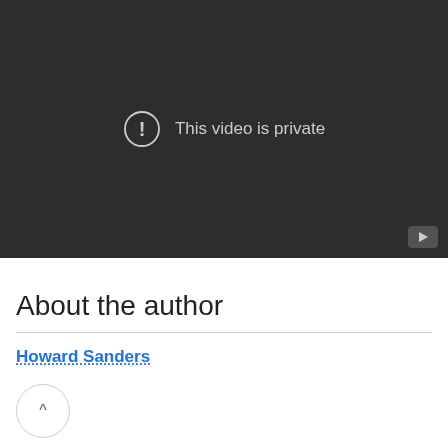[Figure (screenshot): A dark video player showing the message 'This video is private' with an exclamation icon and a play button in the bottom right corner.]
About the author
Howard Sanders